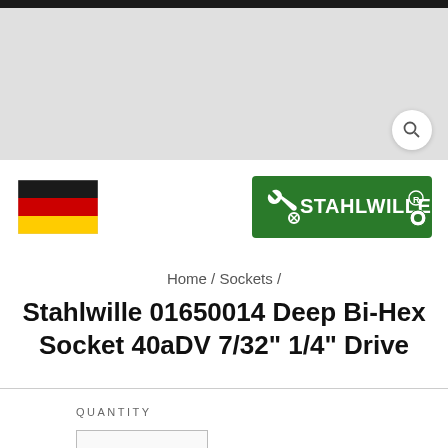[Figure (photo): Product image area with dark bar at top and light gray background]
[Figure (logo): German flag icon on the left]
[Figure (logo): Stahlwille brand logo on green background with wrench icon]
Home / Sockets /
Stahlwille 01650014 Deep Bi-Hex Socket 40aDV 7/32" 1/4" Drive
QUANTITY